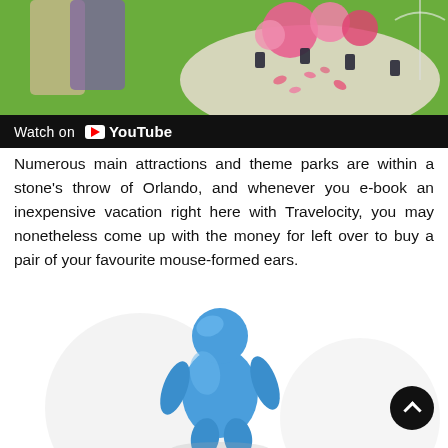[Figure (screenshot): YouTube video thumbnail showing a couple at an outdoor event table decorated with pink flowers and lanterns, with a 'Watch on YouTube' bar at the bottom.]
Numerous main attractions and theme parks are within a stone's throw of Orlando, and whenever you e-book an inexpensive vacation right here with Travelocity, you may nonetheless come up with the money for left over to buy a pair of your favourite mouse-formed ears.
[Figure (illustration): A 3D blue stylized human figure illustration with circular background shapes, partially visible at the bottom of the page.]